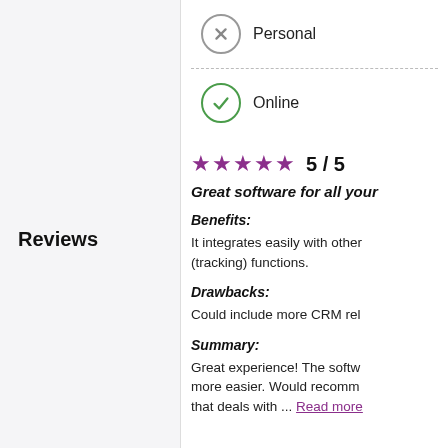Personal
Online
Reviews
5 / 5
Great software for all your
Benefits:
It integrates easily with other (tracking) functions.
Drawbacks:
Could include more CRM rel
Summary:
Great experience! The softw more easier. Would recomm that deals with ... Read more